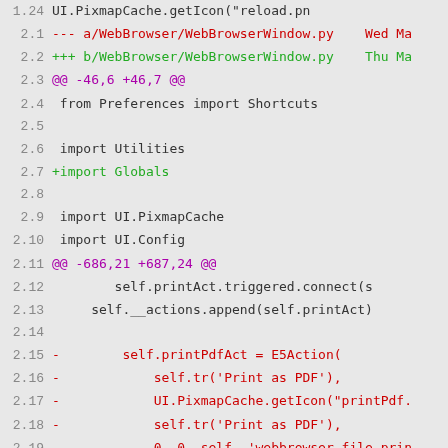1.24  UI.PixmapCache.getIcon("reload.pn
2.1  --- a/WebBrowser/WebBrowserWindow.py    Wed Ma
2.2  +++ b/WebBrowser/WebBrowserWindow.py    Thu Ma
2.3  @@ -46,6 +46,7 @@
2.4   from Preferences import Shortcuts
2.5
2.6   import Utilities
2.7  +import Globals
2.8
2.9   import UI.PixmapCache
2.10  import UI.Config
2.11 @@ -686,21 +687,24 @@
2.12          self.printAct.triggered.connect(s
2.13       self.__actions.append(self.printAct)
2.14
2.15 -        self.printPdfAct = E5Action(
2.16 -            self.tr('Print as PDF'),
2.17 -            UI.PixmapCache.getIcon("printPdf.
2.18 -            self.tr('Print as PDF'),
2.19 -            0, 0, self, 'webbrowser_file_prin